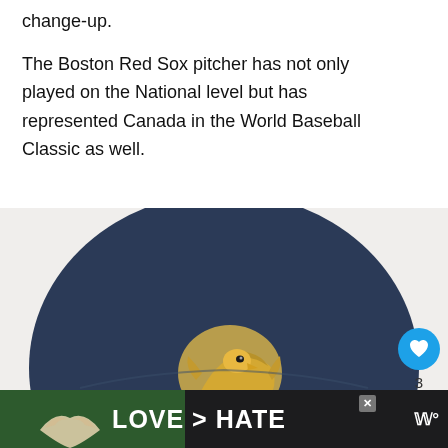change-up.
The Boston Red Sox pitcher has not only played on the National level but has represented Canada in the World Baseball Classic as well.
[Figure (photo): Close-up photo of a person wearing a navy blue baseball cap with a gold eagle/bird logo on the front. The face is partially visible and blurred at the bottom.]
[Figure (infographic): Social media interaction panel with a heart/like button (blue circle), count of 3, and a share button (blue circle with share icon).]
[Figure (photo): Advertisement banner with dark background showing hands making a heart shape, with white bold text 'LOVE > HATE' and a close button X, plus a logo on the right.]